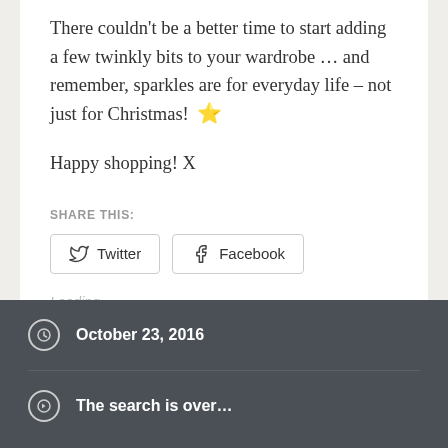There couldn't be a better time to start adding a few twinkly bits to your wardrobe … and remember, sparkles are for everyday life – not just for Christmas! ⭐
Happy shopping! X
SHARE THIS:
Loading…
October 23, 2016
The search is over…